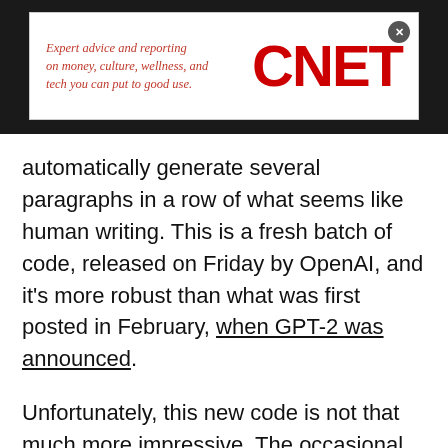[Figure (logo): CNET advertisement banner with italic red text 'Expert advice and reporting on money, culture, wellness, and tech you can put to good use.' and large red CNET logo]
automatically generate several paragraphs in a row of what seems like human writing. This is a fresh batch of code, released on Friday by OpenAI, and it's more robust than what was first posted in February, when GPT-2 was announced.
Unfortunately, this new code is not that much more impressive. The occasional flash of brilliance is mixed in with a lot of gibberish and the creations quickly become tiresome.